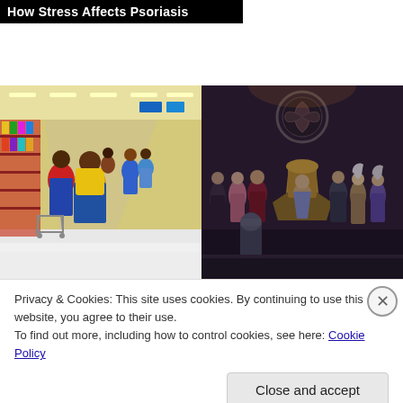How Stress Affects Psoriasis
[Figure (photo): Interior of a Walmart store with shoppers pushing carts down the aisles]
[Figure (photo): Scene from 'House of the Dragon' TV show with cast in costume on throne set]
$900 Grocery Allowance For Seniors On Medicare
'House Of The Dragon' Showrunners - They Are
Privacy & Cookies: This site uses cookies. By continuing to use this website, you agree to their use.
To find out more, including how to control cookies, see here: Cookie Policy
Close and accept